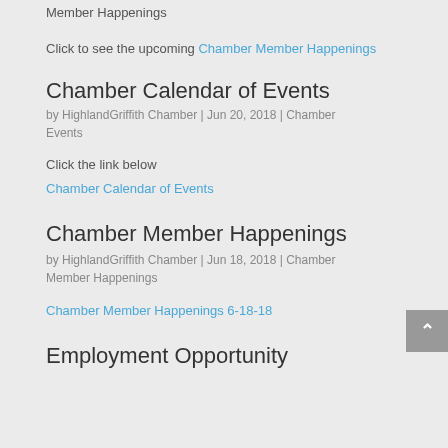Member Happenings
Click to see the upcoming Chamber Member Happenings
Chamber Calendar of Events
by HighlandGriffith Chamber | Jun 20, 2018 | Chamber Events
Click the link below
Chamber Calendar of Events
Chamber Member Happenings
by HighlandGriffith Chamber | Jun 18, 2018 | Chamber Member Happenings
Chamber Member Happenings 6-18-18
Employment Opportunity